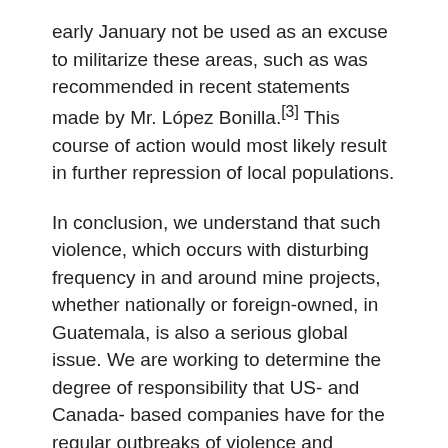early January not be used as an excuse to militarize these areas, such as was recommended in recent statements made by Mr. López Bonilla.[3] This course of action would most likely result in further repression of local populations.
In conclusion, we understand that such violence, which occurs with disturbing frequency in and around mine projects, whether nationally or foreign-owned, in Guatemala, is also a serious global issue. We are working to determine the degree of responsibility that US- and Canada- based companies have for the regular outbreaks of violence and repression in order to ensure that they are also held accountable.
We appreciate your time and consideration of this appeal and look forward to your response.